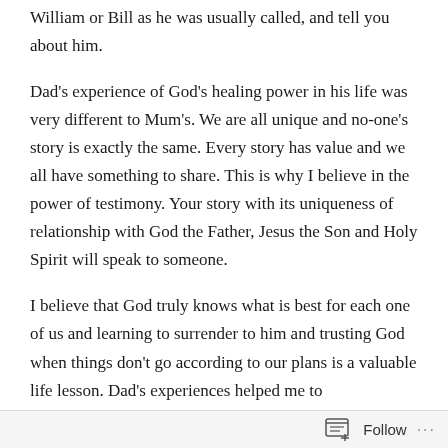William or Bill as he was usually called, and tell you about him.
Dad's experience of God's healing power in his life was very different to Mum's. We are all unique and no-one's story is exactly the same. Every story has value and we all have something to share. This is why I believe in the power of testimony. Your story with its uniqueness of relationship with God the Father, Jesus the Son and Holy Spirit will speak to someone.
I believe that God truly knows what is best for each one of us and learning to surrender to him and trusting God when things don't go according to our plans is a valuable life lesson. Dad's experiences helped me to
Follow